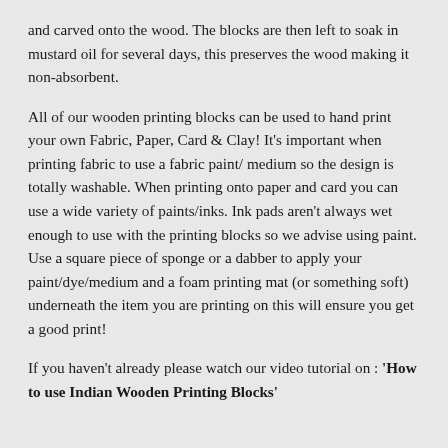and carved onto the wood. The blocks are then left to soak in mustard oil for several days, this preserves the wood making it non-absorbent.
All of our wooden printing blocks can be used to hand print your own Fabric, Paper, Card & Clay! It's important when printing fabric to use a fabric paint/ medium so the design is totally washable. When printing onto paper and card you can use a wide variety of paints/inks. Ink pads aren't always wet enough to use with the printing blocks so we advise using paint. Use a square piece of sponge or a dabber to apply your paint/dye/medium and a foam printing mat (or something soft) underneath the item you are printing on this will ensure you get a good print!
If you haven't already please watch our video tutorial on : 'How to use Indian Wooden Printing Blocks'